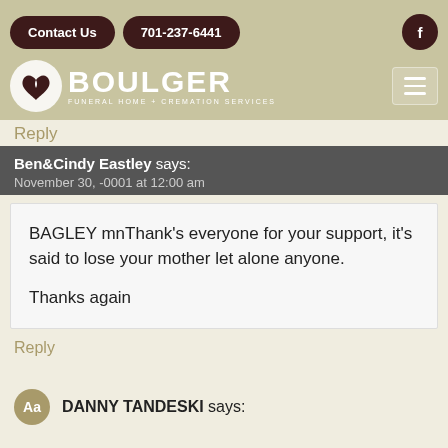[Figure (screenshot): Navigation bar with Contact Us button, 701-237-6441 phone button, and Facebook icon button on khaki background]
[Figure (logo): Boulger Funeral Home + Cremation Services logo with circular icon and white text on khaki background, with hamburger menu icon]
Reply
Ben&Cindy Eastley says:
November 30, -0001 at 12:00 am
BAGLEY mnThank’s everyone for your support, it’s said to lose your mother let alone anyone.

Thanks again
Reply
DANNY TANDESKI says: